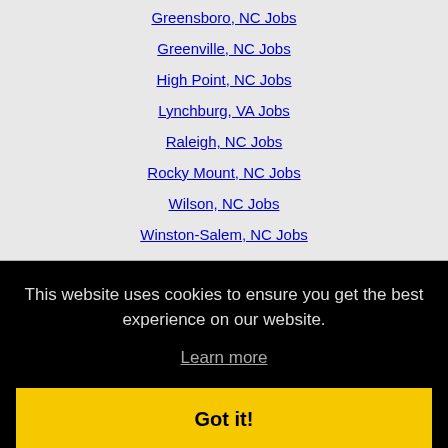Greensboro, NC Jobs
Greenville, NC Jobs
High Point, NC Jobs
Lynchburg, VA Jobs
Raleigh, NC Jobs
Rocky Mount, NC Jobs
Wilson, NC Jobs
Winston-Salem, NC Jobs
This website uses cookies to ensure you get the best experience on our website.
Learn more
Got it!
[Figure (logo): Authorize.Net logo]